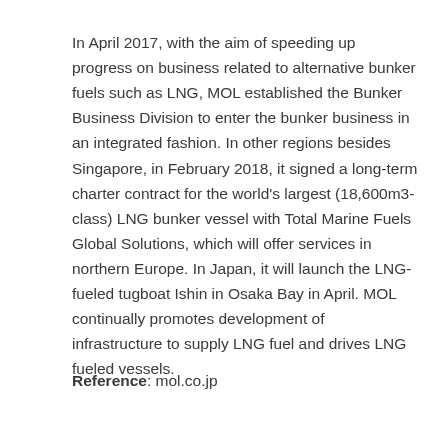In April 2017, with the aim of speeding up progress on business related to alternative bunker fuels such as LNG, MOL established the Bunker Business Division to enter the bunker business in an integrated fashion. In other regions besides Singapore, in February 2018, it signed a long-term charter contract for the world's largest (18,600m3-class) LNG bunker vessel with Total Marine Fuels Global Solutions, which will offer services in northern Europe. In Japan, it will launch the LNG-fueled tugboat Ishin in Osaka Bay in April. MOL continually promotes development of infrastructure to supply LNG fuel and drives LNG fueled vessels.
Reference: mol.co.jp